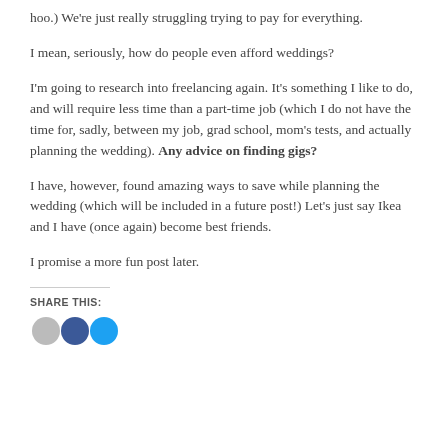hoo.) We're just really struggling trying to pay for everything.
I mean, seriously, how do people even afford weddings?
I'm going to research into freelancing again. It's something I like to do, and will require less time than a part-time job (which I do not have the time for, sadly, between my job, grad school, mom's tests, and actually planning the wedding). Any advice on finding gigs?
I have, however, found amazing ways to save while planning the wedding (which will be included in a future post!) Let's just say Ikea and I have (once again) become best friends.
I promise a more fun post later.
SHARE THIS: